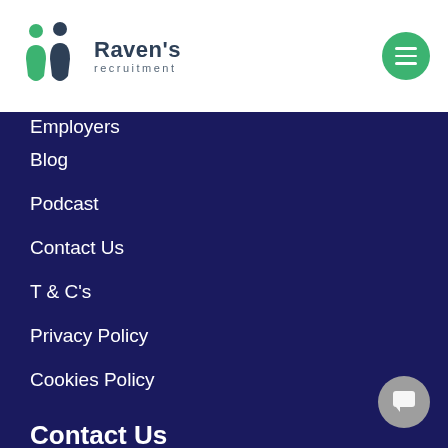Raven's recruitment
Employers
Blog
Podcast
Contact Us
T & C's
Privacy Policy
Cookies Policy
Contact Us
Suite 1304 Lakeside 2, 1 Lake Orr Drive, Varsity Lakes QLD 4227, Australia
1800 429 829